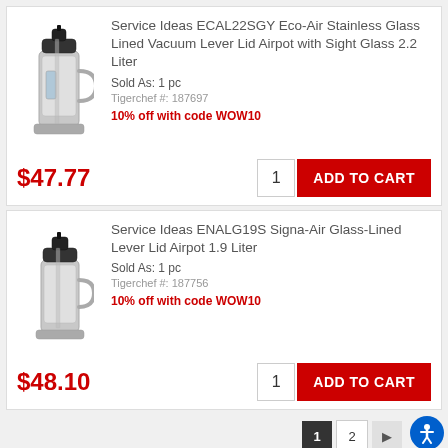[Figure (photo): Stainless steel airpot with black lever lid]
Service Ideas ECAL22SGY Eco-Air Stainless Glass Lined Vacuum Lever Lid Airpot with Sight Glass 2.2 Liter
Sold As: 1 pc
Tigerchef #: 187697
10% off with code WOW10
$47.77
[Figure (photo): Stainless steel airpot with black lever lid, second product]
Service Ideas ENALG19S Signa-Air Glass-Lined Lever Lid Airpot 1.9 Liter
Sold As: 1 pc
Tigerchef #: 187756
10% off with code WOW10
$48.10
Keep your coffee piping hot and fresh over long periods of